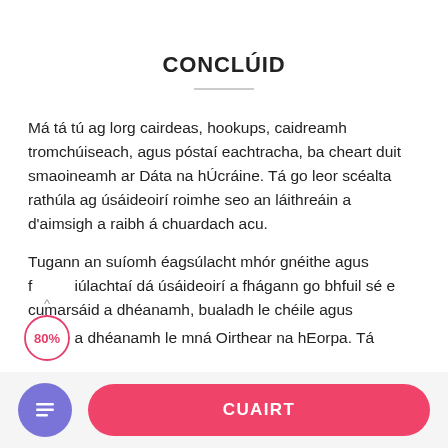CONCLÚID
Má tá tú ag lorg cairdeas, hookups, caidreamh tromchúiseach, agus póstaí eachtracha, ba cheart duit smaoineamh ar Dáta na hÚcráine. Tá go leor scéalta rathúla ag úsáideoirí roimhe seo an láithreáin a d'aimsigh a raibh á chuardach acu.
Tugann an suíomh éagsúlacht mhór gnéithe agus feidhmiúlachtaí dá úsáideoirí a fhágann go bhfuil sé éasca cumarsáid a dhéanamh, bualadh le chéile agus cairde a dhéanamh le mná Oirthear na hEorpa. Tá
[Figure (infographic): A circular progress indicator showing 80% with an upward caret arrow above it, outlined in pink/red.]
CUAIRT